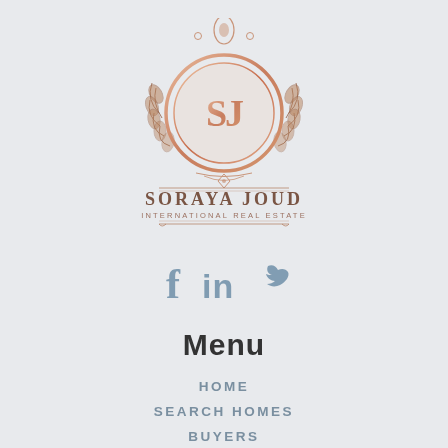[Figure (logo): Soraya Joud International Real Estate logo — circular crest with SJ monogram, laurel wreath, rose gold tones, ornamental border, text SORAYA JOUD INTERNATIONAL REAL ESTATE]
[Figure (infographic): Social media icons: Facebook (f), LinkedIn (in), Twitter (bird) in steel blue/gray color]
Menu
HOME
SEARCH HOMES
BUYERS
SELLERS
CONTACT
FEATURED